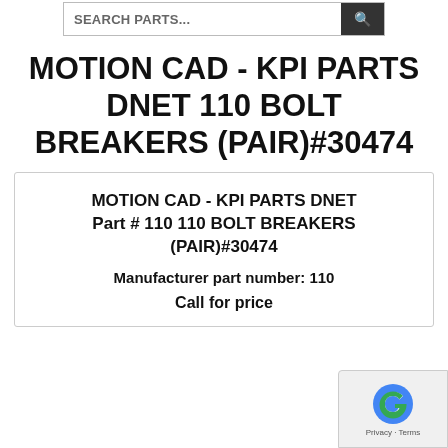SEARCH PARTS...
MOTION CAD - KPI PARTS DNET 110 BOLT BREAKERS (PAIR)#30474
MOTION CAD - KPI PARTS DNET Part # 110 110 BOLT BREAKERS (PAIR)#30474
Manufacturer part number: 110
Call for price